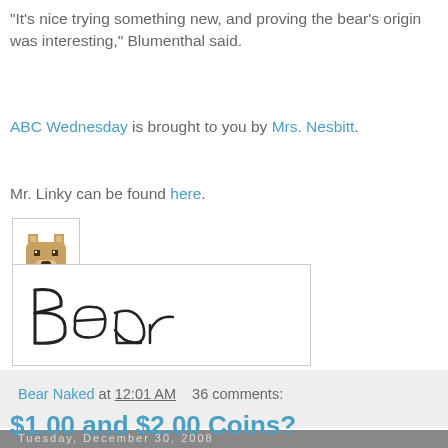"It's nice trying something new, and proving the bear's origin was interesting," Blumenthal said.
ABC Wednesday is brought to you by Mrs. Nesbitt.
Mr. Linky can be found here.
[Figure (illustration): Pixel art bear icon in a small bordered box]
[Figure (illustration): Handwritten word 'Bear' in a bordered box]
Bear Naked at 12:01 AM   36 comments:
Tuesday, December 30, 2008
$1.00 and $2.00 Coins?